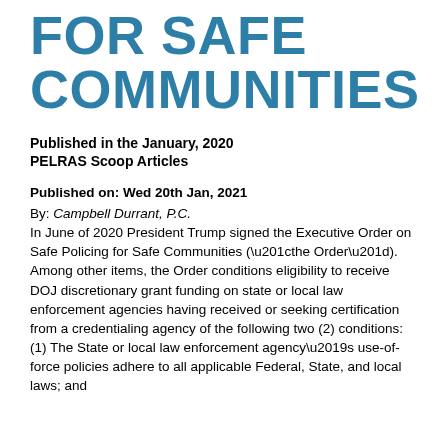FOR SAFE COMMUNITIES
Published in the January, 2020 PELRAS Scoop Articles
Published on: Wed 20th Jan, 2021
By: Campbell Durrant, P.C.
In June of 2020 President Trump signed the Executive Order on Safe Policing for Safe Communities (“the Order”). Among other items, the Order conditions eligibility to receive DOJ discretionary grant funding on state or local law enforcement agencies having received or seeking certification from a credentialing agency of the following two (2) conditions: (1) The State or local law enforcement agency’s use-of-force policies adhere to all applicable Federal, State, and local laws; and